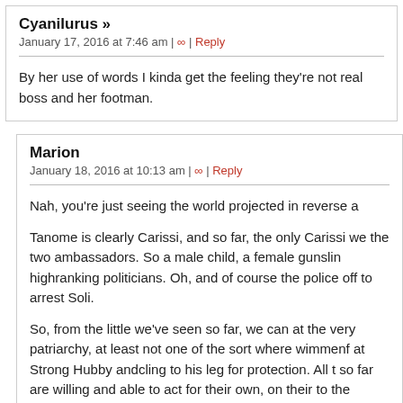Cyanilurus »
January 17, 2016 at 7:46 am | ∞ | Reply
By her use of words I kinda get the feeling they're not real boss and her footman.
Marion
January 18, 2016 at 10:13 am | ∞ | Reply
Nah, you're just seeing the world projected in reverse a
Tanome is clearly Carissi, and so far, the only Carissi we the two ambassadors. So a male child, a female gunslin highranking politicians. Oh, and of course the police off to arrest Soli.
So, from the little we've seen so far, we can at the very patriarchy, at least not one of the sort where wimmenf at Strong Hubby andcling to his leg for protection. All t so far are willing and able to act for their own, on their to the Strong Male for his benign approval. The closest we've seen so far is the chubby ambassador (I forgot t